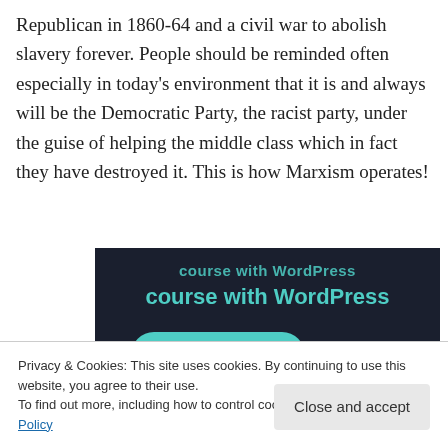Republican in 1860-64 and a civil war to abolish slavery forever. People should be reminded often especially in today's environment that it is and always will be the Democratic Party, the racist party, under the guise of helping the middle class which in fact they have destroyed it. This is how Marxism operates!
[Figure (screenshot): Dark-background advertisement banner showing 'course with WordPress' in teal text and a teal 'Learn More' pill button]
Privacy & Cookies: This site uses cookies. By continuing to use this website, you agree to their use.
To find out more, including how to control cookies, see here: Cookie Policy
Close and accept